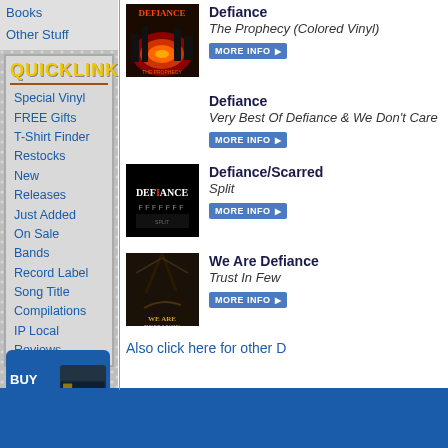Books
Other Stuff
QUICKLINKS
Special Vinyl
FREE Gifts
T-Shirt Finder
Restocks
New Releases
Just Added
On Sale
Bands
Record Label
Song Title
Compilations
IP Local
Reviews
[Figure (other): Album cover for Defiance - The Prophecy (Colored Vinyl), orange/red fiery city scene]
Defiance
The Prophecy (Colored Vinyl)
[Figure (other): Album cover for Defiance - Very Best Of Defiance & We Don't Care]
Defiance
Very Best Of Defiance & We Don't Care
[Figure (other): Album cover for Defiance/Scarred - Split, dark punk logo]
Defiance/Scarred
Split
[Figure (other): Album cover for We Are Defiance - Trust In Few, dark tree branches]
We Are Defiance
Trust In Few
Also click here for other D
[Figure (other): Buy Gift Cards banner with Interpunk card image]